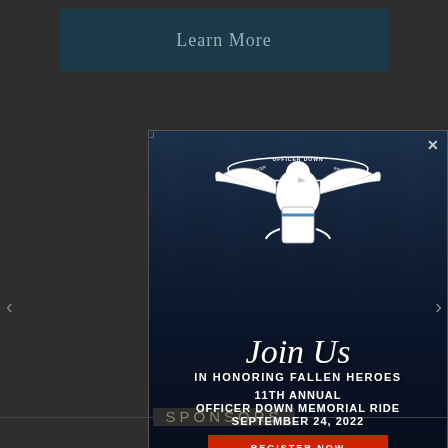Learn More
[Figure (photo): Officer Down Memorial Ride popup modal with motorcycle photo background, eagle logo, 'Join Us in Honoring Fallen Heroes', 11th Annual Officer Down Memorial Ride, September 24, 2022, and Register Now button]
SPONSORS